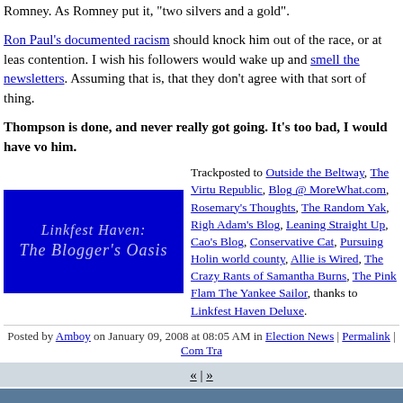Romney. As Romney put it, "two silvers and a gold".
Ron Paul's documented racism should knock him out of the race, or at least out of contention. I wish his followers would wake up and smell the newsletters. Assuming that is, that they don't agree with that sort of thing.
Thompson is done, and never really got going. It's too bad, I would have voted for him.
[Figure (logo): Linkfest Haven: The Blogger's Oasis banner - blue rectangle with stylized white/light text]
Trackposted to Outside the Beltway, The Virtuous Republic, Blog @ MoreWhat.com, Rosemary's Thoughts, The Random Yak, Right Truth, Adam's Blog, Leaning Straight Up, Cao's Blog, Conservative Cat, Pursuing Holiness, third world county, Allie is Wired, The Crazy Rants of Samantha Burns, The Pink Flamingo, The Yankee Sailor, thanks to Linkfest Haven Deluxe.
Posted by Amboy on January 09, 2008 at 08:05 AM in Election News | Permalink | Comments | TrackBack
DIGG THIS | SAVE TO DEL.ICIO.US
« | »